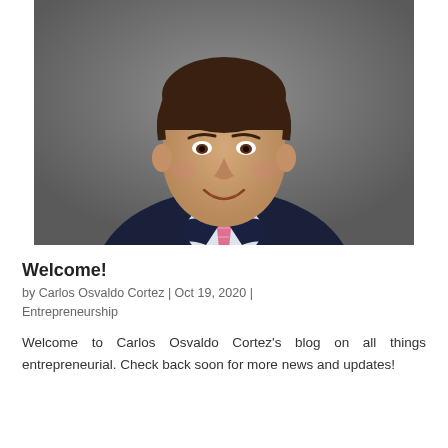[Figure (photo): Professional headshot of a man in a dark navy suit with a pink striped tie, smiling, against a gray background. This is Carlos Osvaldo Cortez.]
Welcome!
by Carlos Osvaldo Cortez | Oct 19, 2020 | Entrepreneurship
Welcome to Carlos Osvaldo Cortez's blog on all things entrepreneurial. Check back soon for more news and updates!